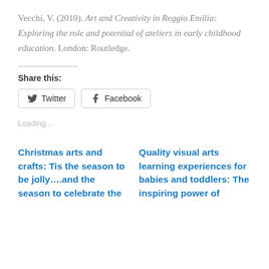Vecchi, V. (2010). Art and Creativity in Reggio Emilia: Exploring the role and potential of ateliers in early childhood education. London: Routledge.
Share this:
Loading...
Christmas arts and crafts: Tis the season to be jolly….and the season to celebrate the
Quality visual arts learning experiences for babies and toddlers: The inspiring power of